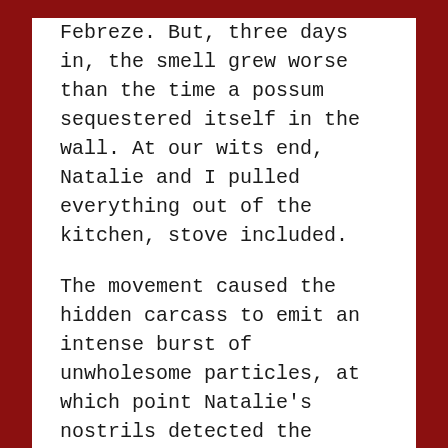Febreze. But, three days in, the smell grew worse than the time a possum sequestered itself in the wall. At our wits end, Natalie and I pulled everything out of the kitchen, stove included.
The movement caused the hidden carcass to emit an intense burst of unwholesome particles, at which point Natalie's nostrils detected the proximate location. I trained my nose on the coordinates and confirmed that the odor originated deep beneath the left back burner.
The stove in question was an old Hotpoint stove, circa the 1950s. Natalie was quite fond it, since it had achieved vintage status, even though the stove was a danger to both mice and men. Before it killed the mouse, it had nearly killed me. A few